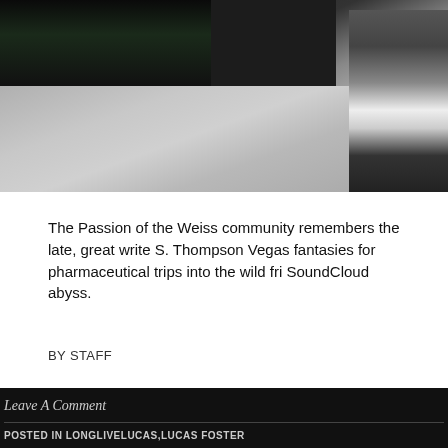[Figure (photo): Night-time outdoor photo showing a person standing on a concrete surface, wearing a dark jacket and light hoodie with dark jeans. Trees and a dark wall visible in the background.]
The Passion of the Weiss community remembers the late, great writer S. Thompson Vegas fantasies for pharmaceutical trips into the wild fri- SoundCloud abyss.
BY STAFF
Leave A Comment
POSTED IN LONGLIVELUCAS,LUCAS FOSTER